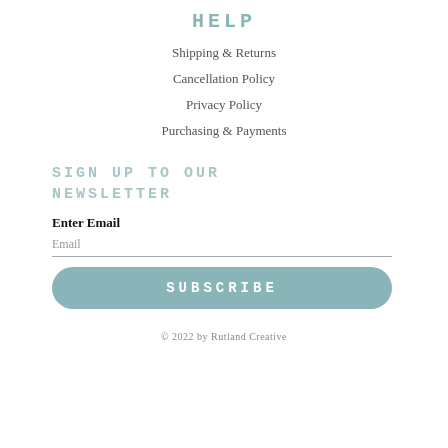HELP
Shipping & Returns
Cancellation Policy
Privacy Policy
Purchasing & Payments
SIGN UP TO OUR NEWSLETTER
Enter Email
Email
SUBSCRIBE
© 2022 by Rutland Creative